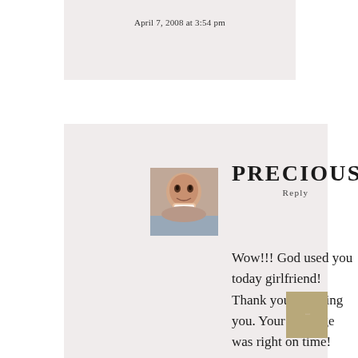April 7, 2008 at 3:54 pm
PRECIOUS
Reply
[Figure (photo): Small square avatar photo of a person smiling, close-up face shot]
Wow!!! God used you today girlfriend! Thank you for being you. Your message was right on time!